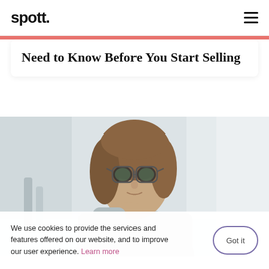spott.
Need to Know Before You Start Selling
[Figure (photo): Woman with glasses sitting at a desk, resting her chin on her hand, in a bright white office environment]
We use cookies to provide the services and features offered on our website, and to improve our user experience. Learn more